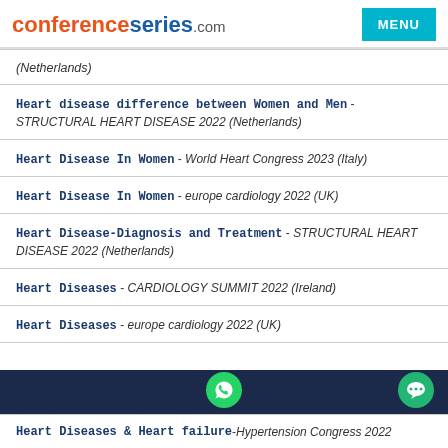conferenceseries.com MENU
(Netherlands)
Heart disease difference between Women and Men - STRUCTURAL HEART DISEASE 2022 (Netherlands)
Heart Disease In Women - World Heart Congress 2023 (Italy)
Heart Disease In Women - europe cardiology 2022 (UK)
Heart Disease-Diagnosis and Treatment - STRUCTURAL HEART DISEASE 2022 (Netherlands)
Heart Diseases - CARDIOLOGY SUMMIT 2022 (Ireland)
Heart Diseases - europe cardiology 2022 (UK)
Heart Diseases & Heart failure - Hypertension Congress 2022